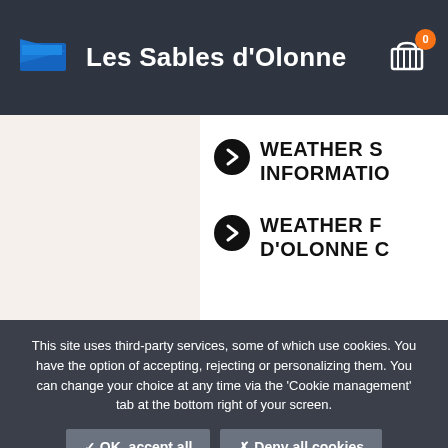Les Sables d'Olonne
WEATHER S INFORMATIO
WEATHER F D'OLONNE C
This site uses third-party services, some of which use cookies. You have the option of accepting, rejecting or personalizing them. You can change your choice at any time via the 'Cookie management' tab at the bottom right of your screen.
✓ OK, accept all
✗ Deny all cookies
Personalize